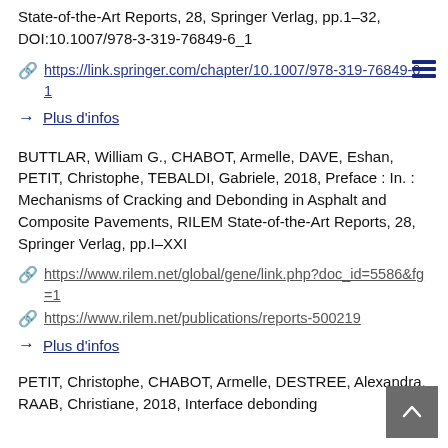State-of-the-Art Reports, 28, Springer Verlag, pp.1–32, DOI:10.1007/978-3-319-76849-6_1
https://link.springer.com/chapter/10.1007/978-319-76849-6_1
Plus d'infos
BUTTLAR, William G., CHABOT, Armelle, DAVE, Eshan, PETIT, Christophe, TEBALDI, Gabriele, 2018, Preface : In. : Mechanisms of Cracking and Debonding in Asphalt and Composite Pavements, RILEM State-of-the-Art Reports, 28, Springer Verlag, pp.I–XXI
https://www.rilem.net/global/gene/link.php?doc_id=5586&fg=1
https://www.rilem.net/publications/reports-500219
Plus d'infos
PETIT, Christophe, CHABOT, Armelle, DESTREE, Alexandra, RAAB, Christiane, 2018, Interface debonding